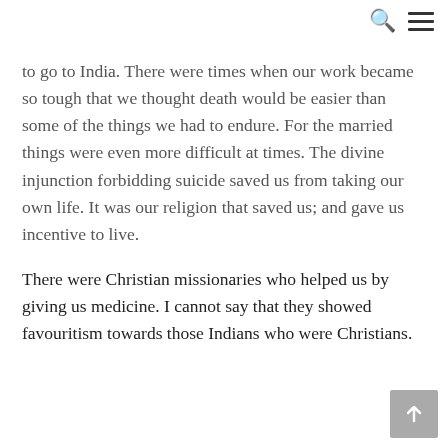[search icon] [menu icon]
to go to India. There were times when our work became so tough that we thought death would be easier than some of the things we had to endure. For the married things were even more difficult at times. The divine injunction forbidding suicide saved us from taking our own life. It was our religion that saved us; and gave us incentive to live.
There were Christian missionaries who helped us by giving us medicine. I cannot say that they showed favouritism towards those Indians who were Christians.